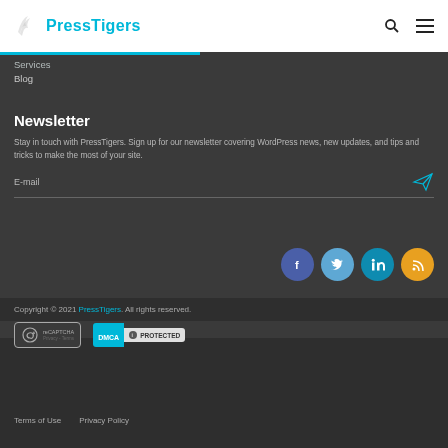PressTigers
Services
Blog
Newsletter
Stay in touch with PressTigers. Sign up for our newsletter covering WordPress news, new updates, and tips and tricks to make the most of your site.
E-mail
[Figure (infographic): Social media icons: Facebook (dark blue), Twitter (light blue), LinkedIn (teal), RSS (orange)]
Copyright © 2021 PressTigers. All rights reserved.
[Figure (logo): Google ReCAPTCHA badge and DMCA Protected badge]
Terms of Use   Privacy Policy